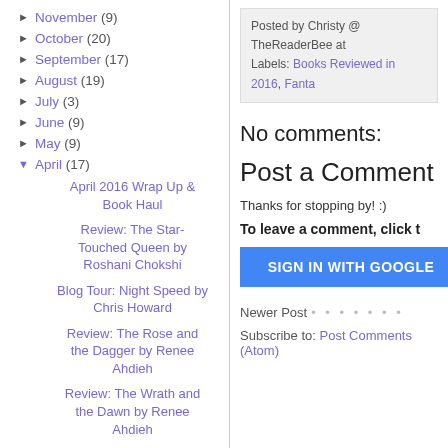► November (9)
► October (20)
► September (17)
► August (19)
► July (3)
► June (9)
► May (9)
▼ April (17)
April 2016 Wrap Up & Book Haul
Review: The Star-Touched Queen by Roshani Chokshi
Blog Tour: Night Speed by Chris Howard
Review: The Rose and the Dagger by Renee Ahdieh
Review: The Wrath and the Dawn by Renee Ahdieh
Waiting on Wednesday #241 - Roseblood by
Posted by Christy @ TheReaderBee at
Labels: Books Reviewed in 2016, Fanta
No comments:
Post a Comment
Thanks for stopping by! :)
To leave a comment, click t
SIGN IN WITH GOOGLE
Newer Post
Subscribe to: Post Comments (Atom)